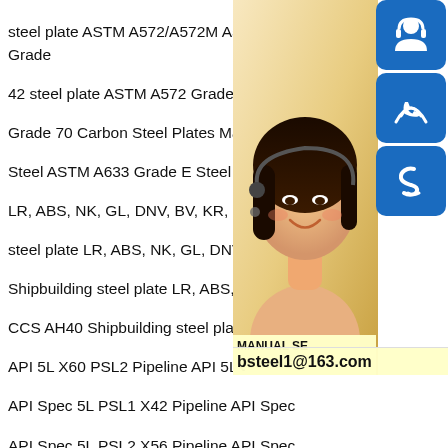steel plate ASTM A572/A572M A572 Grade 50 steel A572 Grade 42 steel plate ASTM A572 Grade 55 HSLA Steel SME SA573 Grade 70 Carbon Steel Plates Manufactur Steel ASTM A633 Grade E Steel Plate A7( LR, ABS, NK, GL, DNV, BV, KR, RINA, CC steel plate LR, ABS, NK, GL, DNV, BV, KR Shipbuilding steel plate LR, ABS, NK, GL, CCS AH40 Shipbuilding steel plate API 5L API 5L X60 PSL2 Pipeline API 5L PSL1 X5 API Spec 5L PSL1 X42 Pipeline API Spec API Spec 5L PSL2 X56 Pipeline API Spec API Spec 5L PSL2 X70 Pipeline ASME SA Steel ASTM A588 Grade B Corrosion Resistant Steel ASTM A387 Grade 11 Class 1 Steel ASTM A387 Grade 11 Class 2 Steel ASTM A387 Grade 11 Class 1 Steel ASTM A387 Grade 11 Class 1 Steel ASTM A516 Grade 70 Steel Plate Alloy Steel Plate Automobile Structure Steel Plate Boiler and Pressure vessel steel plate Carbon and Low alloy High strength Steel Plate Clad Steel Plate Cold
[Figure (photo): A woman with a headset (customer service representative) overlaid with blue icons for online chat, phone, and Skype, plus a contact overlay showing MANUAL SE..., QUOTING O..., and email bsteel1@163.com]